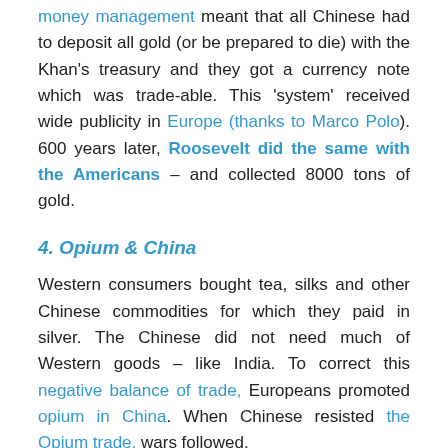money management meant that all Chinese had to deposit all gold (or be prepared to die) with the Khan's treasury and they got a currency note which was trade-able. This 'system' received wide publicity in Europe (thanks to Marco Polo). 600 years later, Roosevelt did the same with the Americans – and collected 8000 tons of gold.
4. Opium & China
Western consumers bought tea, silks and other Chinese commodities for which they paid in silver. The Chinese did not need much of Western goods – like India. To correct this negative balance of trade, Europeans promoted opium in China. When Chinese resisted the Opium trade, wars followed.
In early 19th century AD, Opium imports into China by British, French, American, Dutch, Spanish, traders...